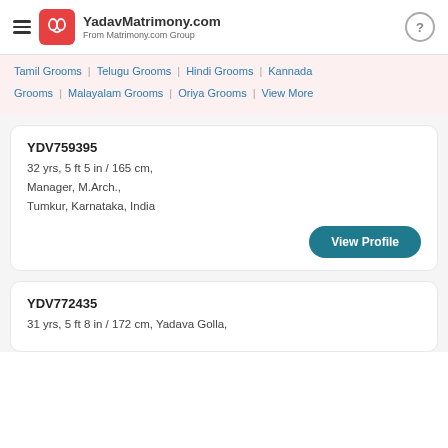YadavMatrimony.com From Matrimony.com Group
Tamil Grooms | Telugu Grooms | Hindi Grooms | Kannada Grooms | Malayalam Grooms | Oriya Grooms | View More
YDV759395
32 yrs, 5 ft 5 in / 165 cm,
Manager, M.Arch.,
Tumkur, Karnataka, India
View Profile
YDV772435
31 yrs, 5 ft 8 in / 172 cm, Yadava Golla,